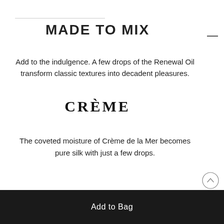MADE TO MIX
Add to the indulgence. A few drops of the Renewal Oil transform classic textures into decadent pleasures.
CRÈME
The coveted moisture of Crème de la Mer becomes pure silk with just a few drops.
Add to Bag